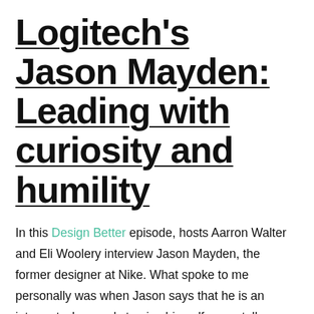Logitech's Jason Mayden: Leading with curiosity and humility
In this Design Better episode, hosts Aarron Walter and Eli Woolery interview Jason Mayden, the former designer at Nike. What spoke to me personally was when Jason says that he is an introvert who needs to give himself a pep talk before talking to people. I love that he mentions